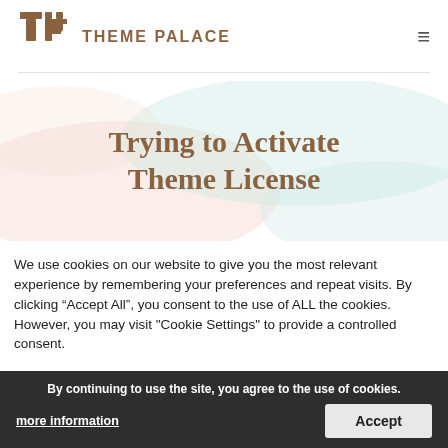THEME PALACE
Trying to Activate Theme License
We use cookies on our website to give you the most relevant experience by remembering your preferences and repeat visits. By clicking “Accept All”, you consent to the use of ALL the cookies. However, you may visit "Cookie Settings" to provide a controlled consent.
By continuing to use the site, you agree to the use of cookies.
more information
Accept